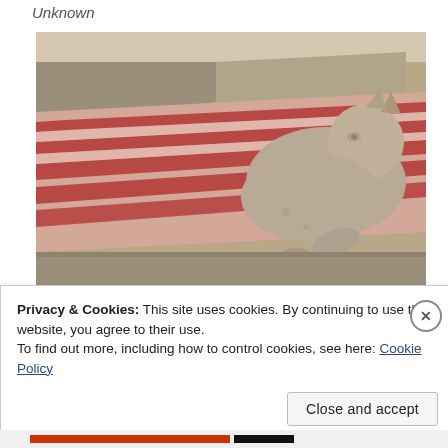Unknown
[Figure (photo): Stone or plaster effigy/sculpture of a reclining figure (possibly a medieval tomb effigy of a dog or animal) with remnants of red/pink painted stripes on the draped surface, viewed close-up at an angle.]
Privacy & Cookies: This site uses cookies. By continuing to use this website, you agree to their use.
To find out more, including how to control cookies, see here: Cookie Policy